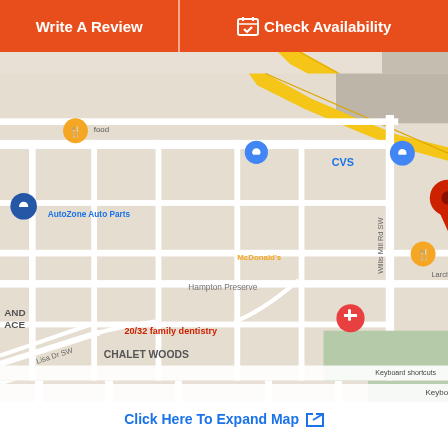Write A Review
Check Availability
[Figure (map): Google Map showing location of 20/32 family dentistry near Willis Mill Rd SW, in the Florida Heights / Chalet Woods area, Atlanta. Nearby landmarks include AutoZone Auto Parts, McDonald's, CVS. Roads include Barfield Ave SW, Wingate St SW, Larchwood Rd SW, Lisa Dr SW. Map data ©2022.]
Click Here To Expand Map